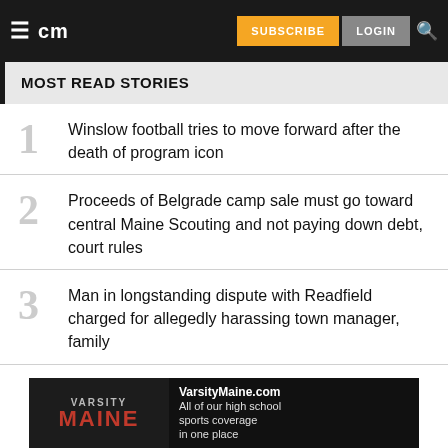cm | SUBSCRIBE | LOGIN
MOST READ STORIES
1 Winslow football tries to move forward after the death of program icon
2 Proceeds of Belgrade camp sale must go toward central Maine Scouting and not paying down debt, court rules
3 Man in longstanding dispute with Readfield charged for allegedly harassing town manager, family
[Figure (infographic): VarsityMaine.com advertisement banner showing football players and text: All of our high school sports coverage in one place]